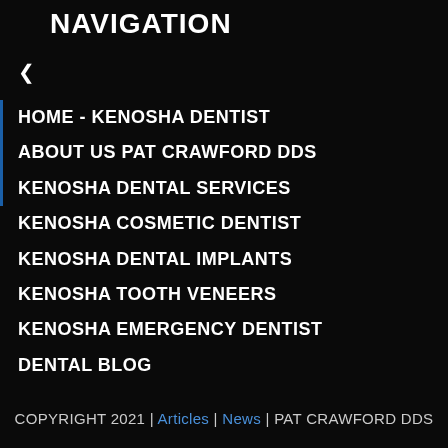NAVIGATION
HOME - KENOSHA DENTIST
ABOUT US PAT CRAWFORD DDS
KENOSHA DENTAL SERVICES
KENOSHA COSMETIC DENTIST
KENOSHA DENTAL IMPLANTS
KENOSHA TOOTH VENEERS
KENOSHA EMERGENCY DENTIST
DENTAL BLOG
Contact
COPYRIGHT 2021 | Articles | News | PAT CRAWFORD DDS